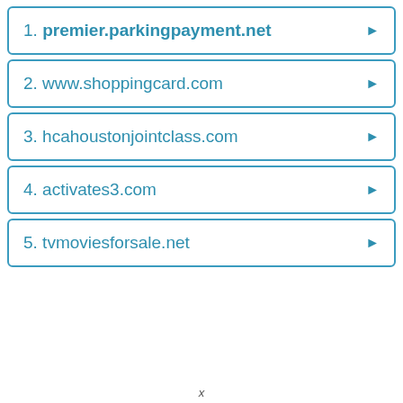1. premier.parkingpayment.net
2. www.shoppingcard.com
3. hcahoustonjointclass.com
4. activates3.com
5. tvmoviesforsale.net
x